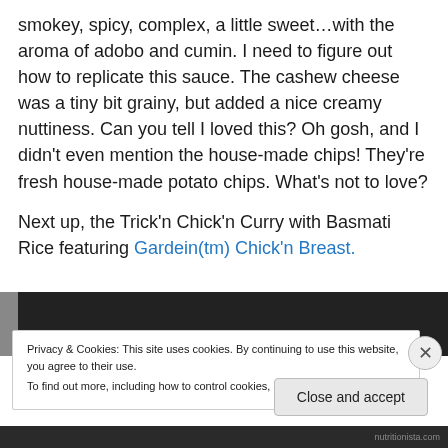smokey, spicy, complex, a little sweet…with the aroma of adobo and cumin. I need to figure out how to replicate this sauce. The cashew cheese was a tiny bit grainy, but added a nice creamy nuttiness. Can you tell I loved this? Oh gosh, and I didn't even mention the house-made chips! They're fresh house-made potato chips. What's not to love?
Next up, the Trick'n Chick'n Curry with Basmati Rice featuring Gardein(tm) Chick'n Breast.
[Figure (photo): Partial view of a food photograph, darkened, showing top edge of a dish.]
Privacy & Cookies: This site uses cookies. By continuing to use this website, you agree to their use. To find out more, including how to control cookies, see here: Cookie Policy
Close and accept